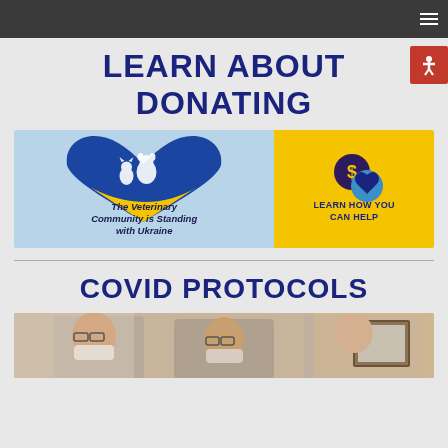Navigation bar with hamburger menu
LEARN ABOUT DONATING
[Figure (photo): Banner image with two panels: left panel shows a blue and yellow heart with silhouettes of a dog and cat, with text 'The Veterinary Community is Standing with Ukraine'; right panel is yellow with dollar sign and heart icons and text 'LEARN HOW YOU CAN HELP']
COVID PROTOCOLS
[Figure (photo): Photo of three people wearing face masks, partially visible at bottom of page]